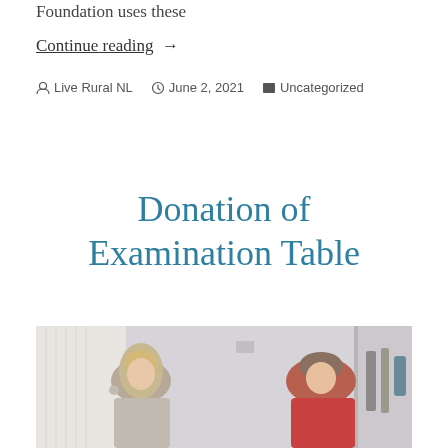Foundation uses these
Continue reading  →
By Live Rural NL   June 2, 2021   Uncategorized
Donation of Examination Table
[Figure (photo): Two women seated in a medical examination room. The woman on the left has long hair and wears a patterned blouse. The woman on the right wears a red top and sits near medical equipment on the wall.]